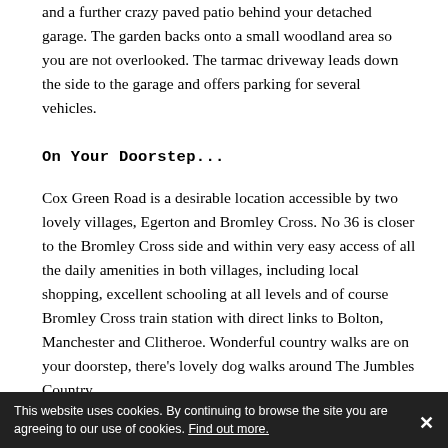and a further crazy paved patio behind your detached garage. The garden backs onto a small woodland area so you are not overlooked. The tarmac driveway leads down the side to the garage and offers parking for several vehicles.
On Your Doorstep...
Cox Green Road is a desirable location accessible by two lovely villages, Egerton and Bromley Cross. No 36 is closer to the Bromley Cross side and within very easy access of all the daily amenities in both villages, including local shopping, excellent schooling at all levels and of course Bromley Cross train station with direct links to Bolton, Manchester and Clitheroe. Wonderful country walks are on your doorstep, there's lovely dog walks around The Jumbles Country Park, Turton Golf Course and cosy pubs nearby to...
This website uses cookies. By continuing to browse the site you are agreeing to our use of cookies. Find out more.